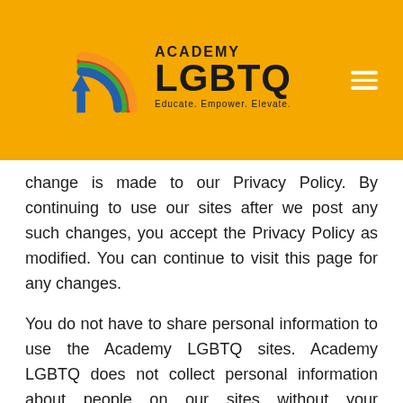[Figure (logo): Academy LGBTQ logo with rainbow arc icon, bold LGBTQ text, ACADEMY above it, and tagline 'Educate. Empower. Elevate.' on orange/yellow background header with hamburger menu icon]
change is made to our Privacy Policy. By continuing to use our sites after we post any such changes, you accept the Privacy Policy as modified. You can continue to visit this page for any changes.
You do not have to share personal information to use the Academy LGBTQ sites. Academy LGBTQ does not collect personal information about people on our sites without your permission. We make sure you “opt in” and agree to let us contact you.